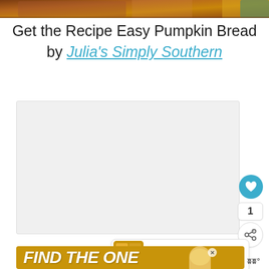[Figure (photo): Top portion of a pumpkin bread photo, showing baked bread with dark golden crust on a cooling rack, partially cropped at top of page]
Get the Recipe Easy Pumpkin Bread
by Julia's Simply Southern
[Figure (screenshot): Large light gray content/embed area with social sharing widgets: a teal heart/like button, count badge showing '1', and a share button with plus icon]
[Figure (infographic): WHAT'S NEXT card showing '15 Pumpkin Recipes for...' with thumbnail of pumpkin recipes]
[Figure (infographic): Advertisement banner with gold/yellow background reading 'FIND THE ONE' with a dog photo and close button]